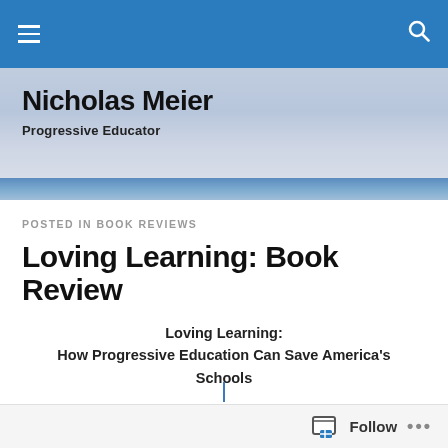Nicholas Meier — Progressive Educator
Nicholas Meier
Progressive Educator
POSTED IN BOOK REVIEWS
Loving Learning: Book Review
Loving Learning: How Progressive Education Can Save America's Schools